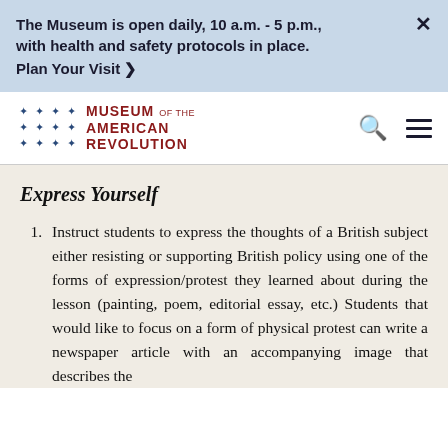The Museum is open daily, 10 a.m. - 5 p.m., with health and safety protocols in place. Plan Your Visit >
[Figure (logo): Museum of the American Revolution logo with star grid and red text]
Express Yourself
Instruct students to express the thoughts of a British subject either resisting or supporting British policy using one of the forms of expression/protest they learned about during the lesson (painting, poem, editorial essay, etc.) Students that would like to focus on a form of physical protest can write a newspaper article with an accompanying image that describes the